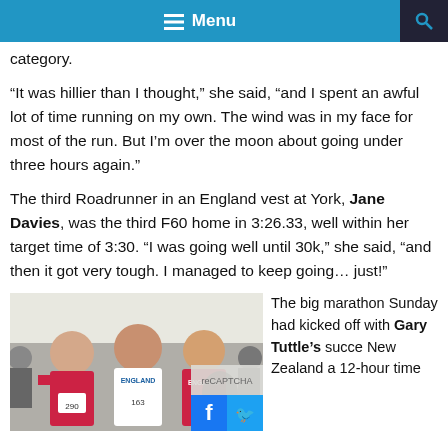Menu
category.
“It was hillier than I thought,” she said, “and I spent an awful lot of time running on my own. The wind was in my face for most of the run. But I’m over the moon about going under three hours again.”
The third Roadrunner in an England vest at York, Jane Davies, was the third F60 home in 3:26.33, well within her target time of 3:30. “I was going well until 30k,” she said, “and then it got very tough. I managed to keep going… just!”
[Figure (photo): Three runners wearing England vests posing together after a race, with race numbers visible (290, 163).]
The big marathon Sunday had kicked off with Gary Tuttle’s succe New Zealand a 12-hour time